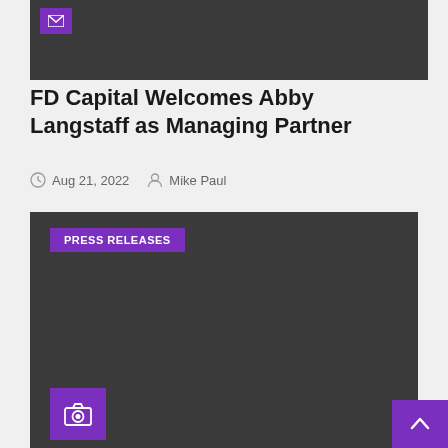[Figure (photo): Dark gray image bar at the top with a small purple envelope icon in the upper left corner]
FD Capital Welcomes Abby Langstaff as Managing Partner
Aug 21, 2022   Mike Paul
[Figure (photo): Large dark gray image area with a purple PRESS RELEASES label tag in the upper left and a purple camera icon button in the lower left corner]
[Figure (other): Purple scroll-to-top button with upward chevron arrow in the bottom right corner]